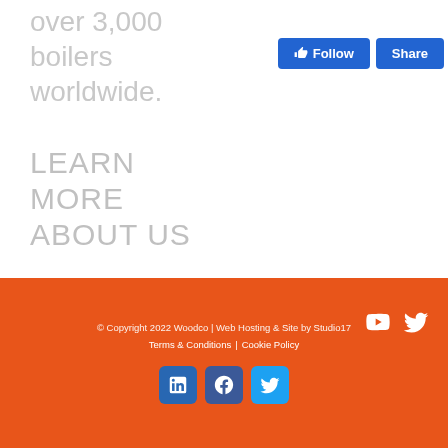over 3,000 boilers worldwide.
LEARN MORE ABOUT US
© Copyright 2022 Woodco | Web Hosting & Site by Studio17 | Terms & Conditions | Cookie Policy